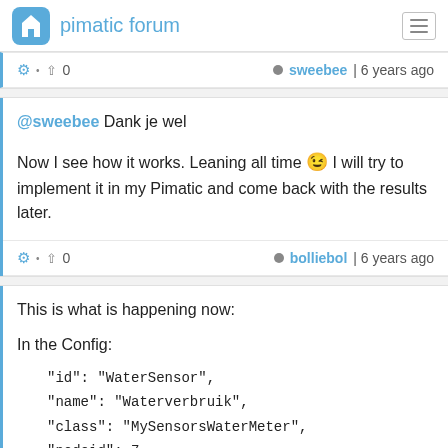pimatic forum
⚙ • ↑ 0   sweebee | 6 years ago
@sweebee Dank je wel

Now I see how it works. Leaning all time 😉 I will try to implement it in my Pimatic and come back with the results later.
⚙ • ↑ 0   bolliebol | 6 years ago
This is what is happening now:

In the Config:
"id": "WaterSensor",
"name": "Waterverbruik",
"class": "MySensorsWaterMeter",
"nodeid": 7,